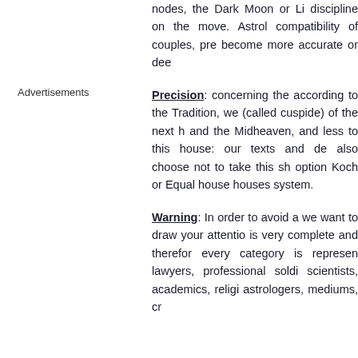nodes, the Dark Moon or Li discipline on the move. Astrol compatibility of couples, pre become more accurate or dee
Advertisements
Precision: concerning the according to the Tradition, we (called cuspide) of the next h and the Midheaven, and less to this house: our texts and de also choose not to take this sh option Koch or Equal house houses system.
Warning: In order to avoid a we want to draw your attentio is very complete and therefor every category is represen lawyers, professional soldi scientists, academics, religi astrologers, mediums, cr